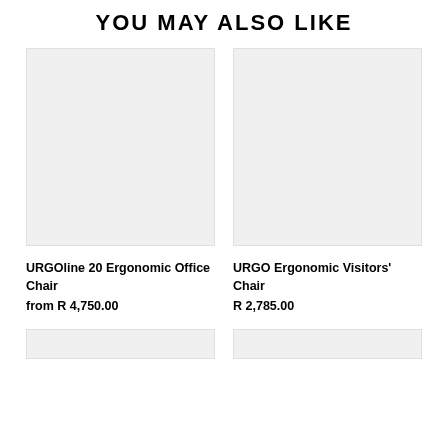YOU MAY ALSO LIKE
[Figure (photo): Empty light gray product image placeholder for URGOline 20 Ergonomic Office Chair]
URGOline 20 Ergonomic Office Chair
from R 4,750.00
[Figure (photo): Empty light gray product image placeholder for URGO Ergonomic Visitors' Chair]
URGO Ergonomic Visitors' Chair
R 2,785.00
[Figure (photo): Partial empty light gray product image placeholder (bottom left)]
[Figure (photo): Partial empty light gray product image placeholder (bottom right)]